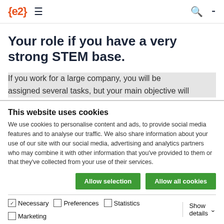{e2} ≡  🔍 ⊞
Your role if you have a very strong STEM base.
If you work for a large company, you will be assigned several tasks, but your main objective will
This website uses cookies
We use cookies to personalise content and ads, to provide social media features and to analyse our traffic. We also share information about your use of our site with our social media, advertising and analytics partners who may combine it with other information that you've provided to them or that they've collected from your use of their services.
Allow selection   Allow all cookies
☑ Necessary  ☐ Preferences  ☐ Statistics  ☐ Marketing  Show details ∨